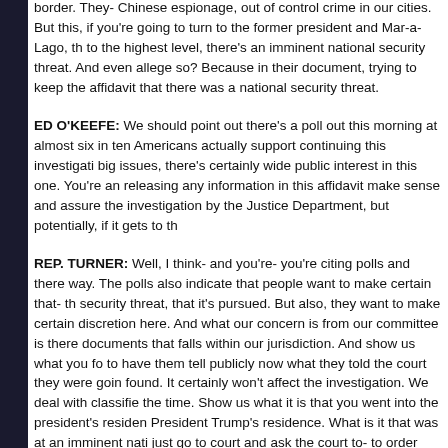border. They- Chinese espionage, out of control crime in our cities. But this, if you're going to turn to the former president and Mar-a-Lago, that to the highest level, there's an imminent national security threat. And even allege so? Because in their document, trying to keep the affidavit that there was a national security threat.
ED O'KEEFE: We should point out there's a poll out this morning at almost six in ten Americans actually support continuing this investigation. big issues, there's certainly wide public interest in this one. You're and releasing any information in this affidavit make sense and assure the investigation by the Justice Department, but potentially, if it gets to the
REP. TURNER: Well, I think- and you're- you're citing polls and there way. The polls also indicate that people want to make certain that- the security threat, that it's pursued. But also, they want to make certain discretion here. And what our concern is from our committee is there's documents that falls within our jurisdiction. And show us what you found to have them tell publicly now what they told the court they were going found. It certainly won't affect the investigation. We deal with classified the time. Show us what it is that you went into the president's residence President Trump's residence. What is it that was at an imminent national just go to court and ask the court to- to order that the documents be spend- I just think of the resources of 30 agents that spent 9 hours in have real imminent national security threats like Chinese espionage,